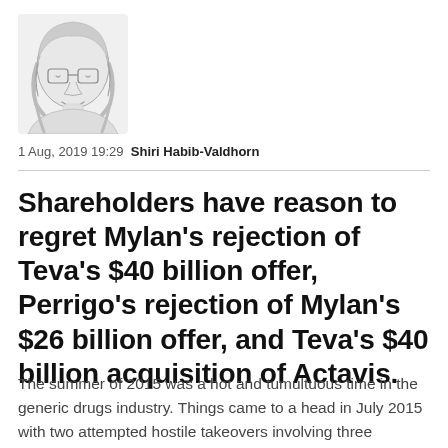[Figure (illustration): Pencil sketch portrait of a woman with glasses and shoulder-length hair, smiling.]
1 Aug, 2019 19:29 Shiri Habib-Valdhorn
Shareholders have reason to regret Mylan's rejection of Teva's $40 billion offer, Perrigo's rejection of Mylan's $26 billion offer, and Teva's $40 billion acquisition of Actavis.
The summer of 2015 was a hot and tumultuous time in the generic drugs industry. Things came to a head in July 2015 with two attempted hostile takeovers involving three companies - two of them listed on the Tel Aviv